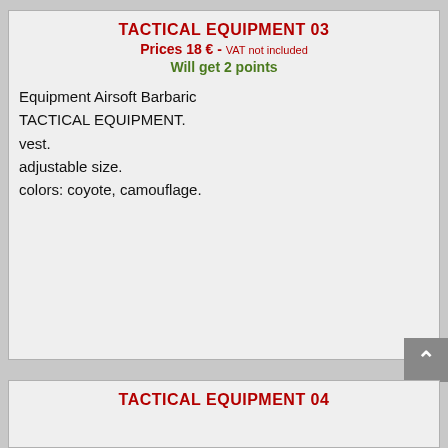TACTICAL EQUIPMENT 03
Prices 18 € - VAT not included
Will get 2 points
Equipment Airsoft Barbaric TACTICAL EQUIPMENT.
vest.
adjustable size.
colors: coyote, camouflage.
TACTICAL EQUIPMENT 04